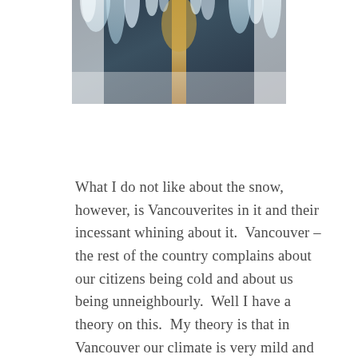[Figure (photo): A close-up photograph of icy or snowy plant material, with white icy formations and what appears to be a golden-brown plant or reed in the center, against a dark background.]
What I do not like about the snow, however, is Vancouverites in it and their incessant whining about it.  Vancouver – the rest of the country complains about our citizens being cold and about us being unneighbourly.  Well I have a theory on this.  My theory is that in Vancouver our climate is very mild and unlike the rest of the country, we rarely get snow.  As such we have missed out on the snow bonding experience that the rest of the country gets.  We've missed out